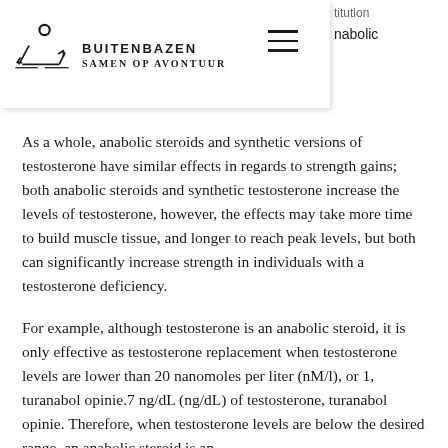BUITENBAZEN SAMEN OP AVONTUUR
As a whole, anabolic steroids and synthetic versions of testosterone have similar effects in regards to strength gains; both anabolic steroids and synthetic testosterone increase the levels of testosterone, however, the effects may take more time to build muscle tissue, and longer to reach peak levels, but both can significantly increase strength in individuals with a testosterone deficiency.
For example, although testosterone is an anabolic steroid, it is only effective as testosterone replacement when testosterone levels are lower than 20 nanomoles per liter (nM/l), or 1, turanabol opinie.7 ng/dL (ng/dL) of testosterone, turanabol opinie. Therefore, when testosterone levels are below the desired range, an anabolic steroid is an